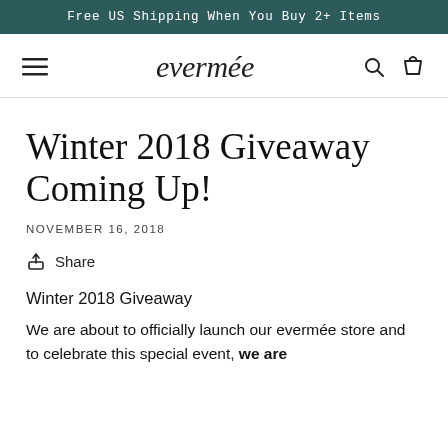Free US Shipping When You Buy 2+ Items
[Figure (logo): evermée brand logo with navigation icons (hamburger menu, search, cart)]
Winter 2018 Giveaway Coming Up!
NOVEMBER 16, 2018
Share
Winter 2018 Giveaway
We are about to officially launch our evermée store and to celebrate this special event, we are